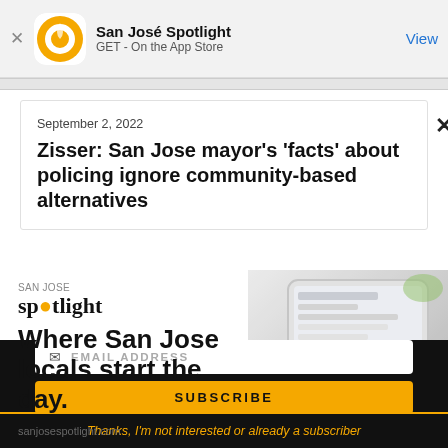San José Spotlight | GET - On the App Store | View
Zisser: San Jose mayor's 'facts' about policing ignore community-based alternatives
September 2, 2022
[Figure (advertisement): San Jose Spotlight ad — 'Where San Jose locals start the day.' with tablet image in background]
EMAIL ADDRESS
SUBSCRIBE
Thanks, I'm not interested or already a subscriber